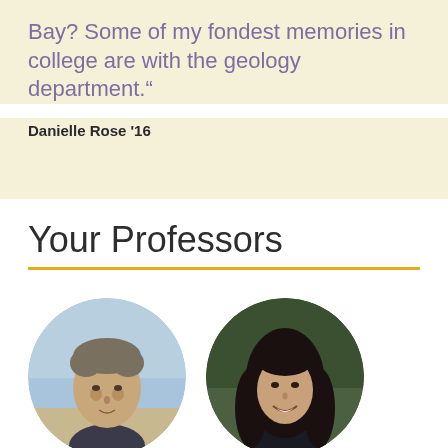Bay? Some of my fondest memories in college are with the geology department."
Danielle Rose '16
Your Professors
[Figure (photo): Circular portrait photo of a male professor with gray-brown hair, photographed outdoors with a beach/sky background]
[Figure (photo): Circular portrait photo of a female professor with long dark hair, smiling, photographed outdoors with a green/nature background]